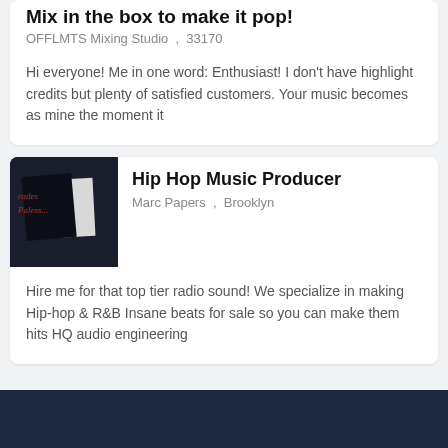Mix in the box to make it pop!
OFFLMTS Mixing Studio  ,  33170
Hi everyone! Me in one word: Enthusiast! I don't have highlight credits but plenty of satisfied customers. Your music becomes as mine the moment it
[Figure (photo): Dark photo showing a black fabric/clothing item with a small white card or label, with red handwritten-style text on the dark background]
Hip Hop Music Producer
Marc Papers  ,  Brooklyn
Hire me for that top tier radio sound! We specialize in making Hip-hop & R&B Insane beats for sale so you can make them hits HQ audio engineering